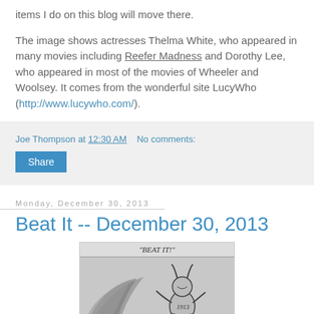items I do on this blog will move there.
The image shows actresses Thelma White, who appeared in many movies including Reefer Madness and Dorothy Lee, who appeared in most of the movies of Wheeler and Woolsey. It comes from the wonderful site LucyWho (http://www.lucywho.com/).
Joe Thompson at 12:30 AM   No comments:
Share
Monday, December 30, 2013
Beat It -- December 30, 2013
[Figure (illustration): Vintage cartoon or illustration titled 'BEAT IT!' showing a figure labeled 1913 being kicked away, drawn in black and white sketch style.]